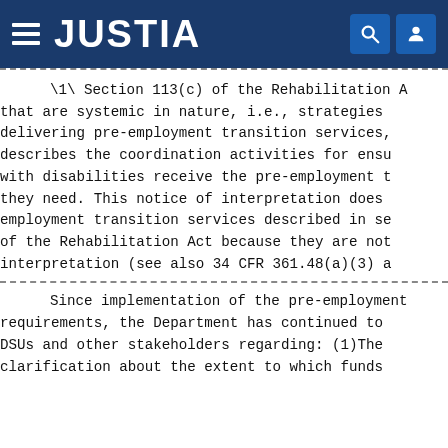JUSTIA
\1\ Section 113(c) of the Rehabilitation A that are systemic in nature, i.e., strategies delivering pre-employment transition services, describes the coordination activities for ensu with disabilities receive the pre-employment t they need. This notice of interpretation does employment transition services described in se of the Rehabilitation Act because they are not interpretation (see also 34 CFR 361.48(a)(3) a
Since implementation of the pre-employment requirements, the Department has continued to DSUs and other stakeholders regarding: (1)The clarification about the extent to which funds